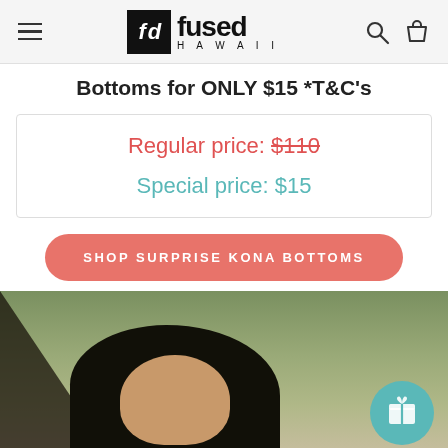fused HAWAII
Bottoms for ONLY $15 *T&C's
Regular price: $110
Special price: $15
SHOP SURPRISE KONA BOTTOMS
[Figure (photo): Photo of a woman with dark hair outdoors, with trees in background; teal gift icon button in bottom right corner]